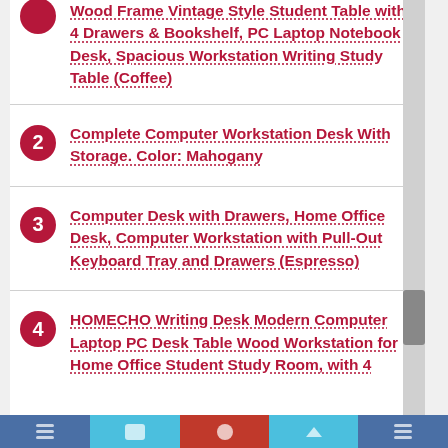Wood Frame Vintage Style Student Table with 4 Drawers & Bookshelf, PC Laptop Notebook Desk, Spacious Workstation Writing Study Table (Coffee)
Complete Computer Workstation Desk With Storage. Color: Mahogany
Computer Desk with Drawers, Home Office Desk, Computer Workstation with Pull-Out Keyboard Tray and Drawers (Espresso)
HOMECHO Writing Desk Modern Computer Laptop PC Desk Table Wood Workstation for Home Office Student Study Room, with 4